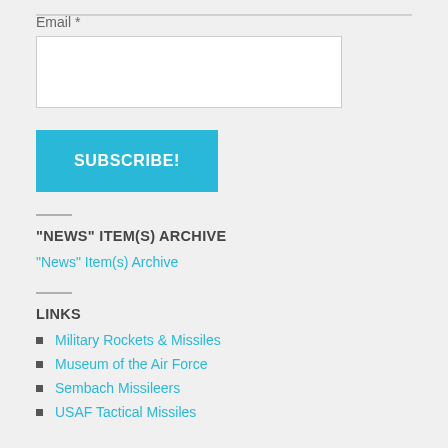Email *
SUBSCRIBE!
"NEWS" ITEM(S) ARCHIVE
"News" Item(s) Archive
LINKS
Military Rockets & Missiles
Museum of the Air Force
Sembach Missileers
USAF Tactical Missiles